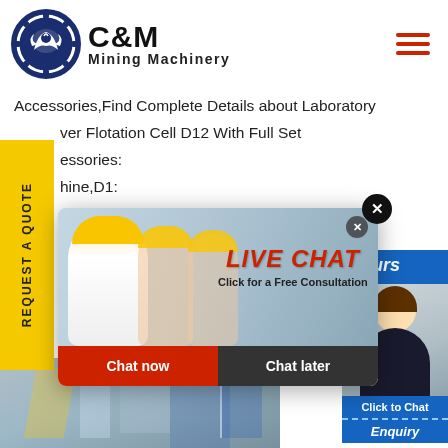[Figure (logo): C&M Mining Machinery logo with eagle gear icon]
Accessories,Find Complete Details about Laboratory ver Flotation Cell D12 With Full Set essories: hine,D1: erals An Manufac tory.
[Figure (screenshot): Live Chat popup with workers photo, LIVE CHAT title, Click for a Free Consultation, Chat now and Chat later buttons]
[Figure (photo): 24 Hours Online right side panel with female agent headset photo, Click to Chat bar, Enquiry bar]
[Figure (photo): Factory/industrial equipment photo at bottom]
REQUEST A QUOTE